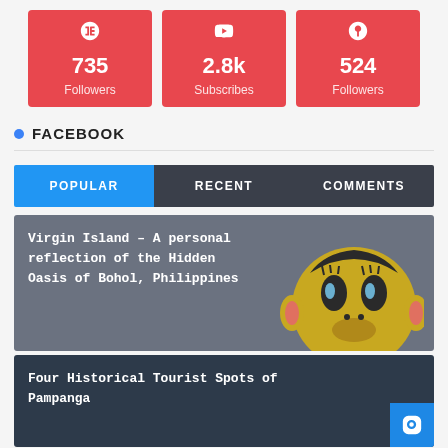[Figure (infographic): Three social media stat cards in red: Google+ with 735 Followers, YouTube with 2.8k Subscribes, Pinterest with 524 Followers]
FACEBOOK
[Figure (screenshot): Tab bar with POPULAR (active, blue), RECENT, COMMENTS tabs]
[Figure (screenshot): Popular post card: Virgin Island - A personal reflection of the Hidden Oasis of Bohol, Philippines with cartoon emoji illustration]
Four Historical Tourist Spots of Pampanga